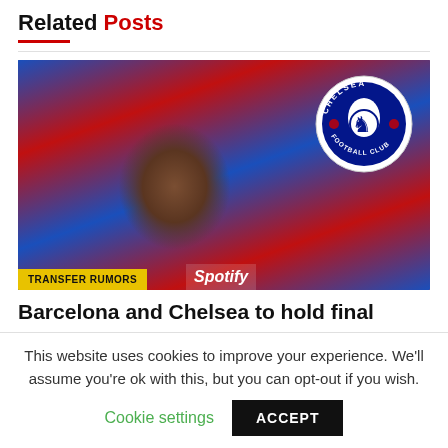Related Posts
[Figure (photo): A footballer wearing a Barcelona blue and red patterned shirt smiling, with a Chelsea Football Club badge overlaid in the top right corner, and a 'TRANSFER RUMORS' yellow tag at the bottom left.]
Barcelona and Chelsea to hold final meeting for Aubameyang
This website uses cookies to improve your experience. We'll assume you're ok with this, but you can opt-out if you wish.
Cookie settings   ACCEPT